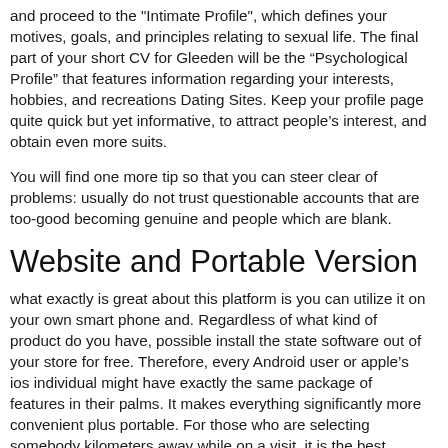and proceed to the "Intimate Profile", which defines your motives, goals, and principles relating to sexual life. The final part of your short CV for Gleeden will be the “Psychological Profile” that features information regarding your interests, hobbies, and recreations Dating Sites. Keep your profile page quite quick but yet informative, to attract people’s interest, and obtain even more suits.
You will find one more tip so that you can steer clear of problems: usually do not trust questionable accounts that are too-good becoming genuine and people which are blank.
Website and Portable Version
what exactly is great about this platform is you can utilize it on your own smart phone and. Regardless of what kind of product do you have, possible install the state software out of your store for free. Therefore, every Android user or apple’s ios individual might have exactly the same package of features in their palms. It makes everything significantly more convenient plus portable. For those who are selecting somebody kilometers away while on a visit, it is the best solution ever before. So many people are usually quickly, so they lack enough time to switch on a personal computer, attend a comfy chair, last but not least see the White adult dating site for rich sites. So they really can be pleased to have a way utilizing Gleeden and numerous other devices.